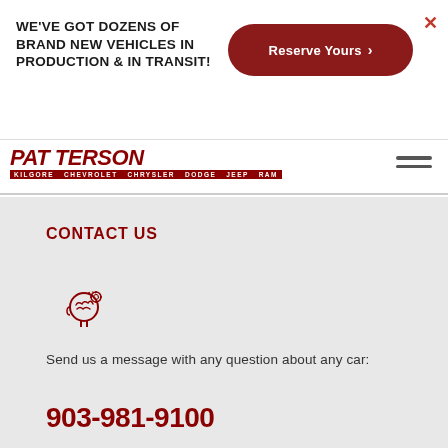WE'VE GOT DOZENS OF BRAND NEW VEHICLES IN PRODUCTION & IN TRANSIT!
Reserve Yours
[Figure (logo): Patterson Kilgore Chevrolet Chrysler Dodge Jeep Ram dealer logo in dark red italic text]
CONTACT US
[Figure (illustration): Head with brain/AI icon in dark red outline style]
Send us a message with any question about any car:
903-981-9100